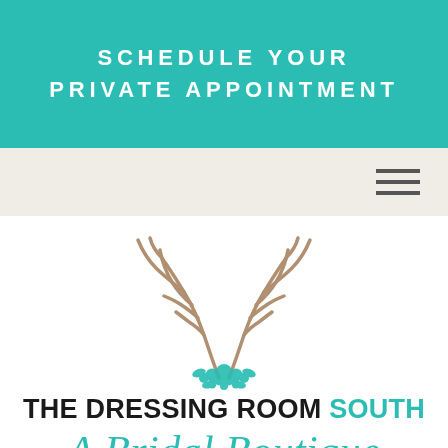SCHEDULE YOUR PRIVATE APPOINTMENT
[Figure (logo): Hamburger menu icon, three horizontal lines]
[Figure (illustration): Deer antlers with teal floral arrangement at the base, forming the boutique logo]
THE DRESSING ROOM SOUTH
A Bridal Boutique